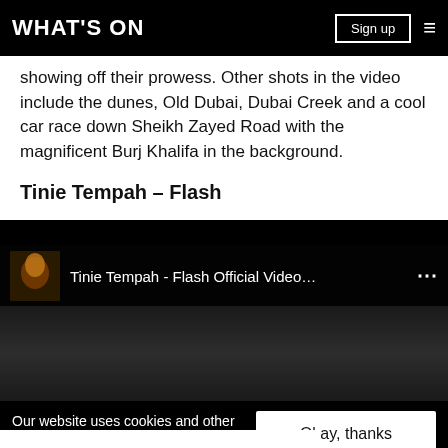WHAT'S ON
showing off their prowess. Other shots in the video include the dunes, Old Dubai, Dubai Creek and a cool car race down Sheikh Zayed Road with the magnificent Burj Khalifa in the background.
Tinie Tempah – Flash
[Figure (screenshot): YouTube video embed showing Tinie Tempah - Flash Official Video... with thumbnail]
Our website uses cookies and other similar technologies to improve our site and your online experience. By continuing to use our website you consent ... our pr...